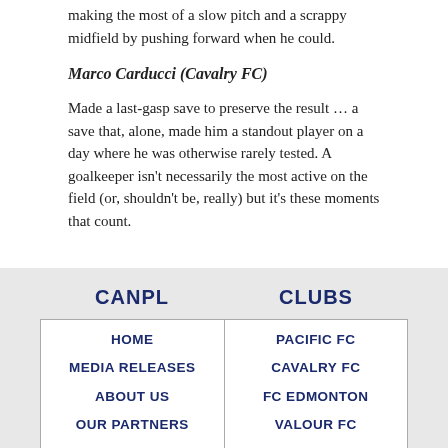making the most of a slow pitch and a scrappy midfield by pushing forward when he could.
Marco Carducci (Cavalry FC)
Made a last-gasp save to preserve the result … a save that, alone, made him a standout player on a day where he was otherwise rarely tested. A goalkeeper isn't necessarily the most active on the field (or, shouldn't be, really) but it's these moments that count.
| CANPL | CLUBS |
| --- | --- |
| HOME | PACIFIC FC |
| MEDIA RELEASES | CAVALRY FC |
| ABOUT US | FC EDMONTON |
| OUR PARTNERS | VALOUR FC |
| CAREERS | FORGE FC |